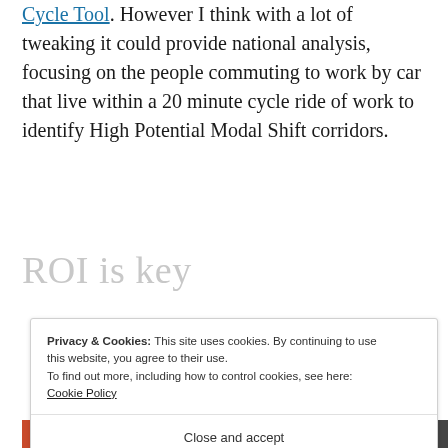Cycle Tool. However I think with a lot of tweaking it could provide national analysis, focusing on the people commuting to work by car that live within a 20 minute cycle ride of work to identify High Potential Modal Shift corridors.
ROI is key
Privacy & Cookies: This site uses cookies. By continuing to use this website, you agree to their use.
To find out more, including how to control cookies, see here: Cookie Policy
Close and accept
[Figure (other): Partial image strip at the bottom showing red, black, and dark colored bands]